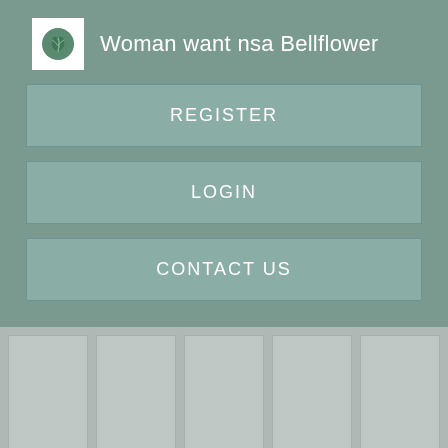Woman want nsa Bellflower
REGISTER
LOGIN
CONTACT US
[Figure (screenshot): Grid of 5 placeholder image cells]
[Figure (screenshot): Bottom row of 5 thumbnail images with labels: Register NOW for Instant Access, Seeking the THRILL of, Adult seeking sex MN, Register NOW for Instant Access, Casual Hook Ups Austin]